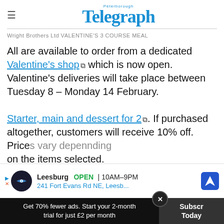Peterborough Telegraph
Wright Brothers Ltd VALENTINE'S 3 COURSE MEAL
All are available to order from a dedicated Valentine's shop which is now open. Valentine's deliveries will take place between Tuesday 8 – Monday 14 February.
Starter, main and dessert for 2. If purchased altogether, customers will receive 10% off. Prices vary depending on the items selected.
[Figure (screenshot): Advertisement overlay: Leesburg OPEN 10AM–9PM, 241 Fort Evans Rd NE, Leesb... with navigation icon]
Get 70% fewer ads. Start your 2-month trial for just £2 per month
Subscribe Today